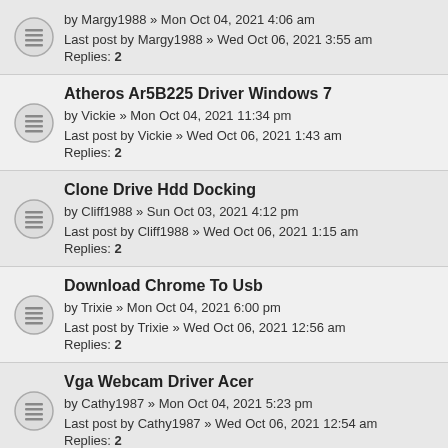by Margy1988 » Mon Oct 04, 2021 4:06 am
Last post by Margy1988 » Wed Oct 06, 2021 3:55 am
Replies: 2
Atheros Ar5B225 Driver Windows 7
by Vickie » Mon Oct 04, 2021 11:34 pm
Last post by Vickie » Wed Oct 06, 2021 1:43 am
Replies: 2
Clone Drive Hdd Docking
by Cliff1988 » Sun Oct 03, 2021 4:12 pm
Last post by Cliff1988 » Wed Oct 06, 2021 1:15 am
Replies: 2
Download Chrome To Usb
by Trixie » Mon Oct 04, 2021 6:00 pm
Last post by Trixie » Wed Oct 06, 2021 12:56 am
Replies: 2
Vga Webcam Driver Acer
by Cathy1987 » Mon Oct 04, 2021 5:23 pm
Last post by Cathy1987 » Wed Oct 06, 2021 12:54 am
Replies: 2
Foods Taken With Coprocessor
by Sandy1991 » Sun Oct 03, 2021 9:21 am